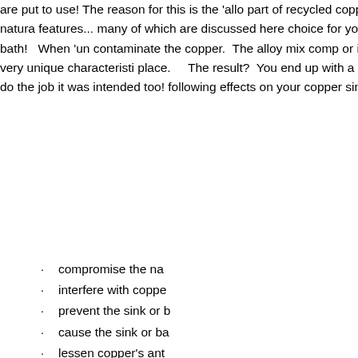are put to use! The reason for this is the 'allo part of recycled copper.  In it's pure, natural features... many of which are discussed here. choice for your kitchen and bath!   When 'un contaminate the copper.  The alloy mix comp or inhibits copper's very unique characteristi place.    The result?  You end up with a cop doesn't quite do the job it was intended too! following effects on your copper sink or bath
compromise the na
interfere with coppe
prevent the sink or b
cause the sink or ba
lessen copper's ant
weaken copper's na
not stand up well to
cause the sink or ba
cost you more mone prematurely replaced
or, worse yet... cont
*note:  the term pure copper refers to coppe
*Weight (Gauge) Matters
Although copper is extremely durable, it's als crucial that your copper kitchen sink, bathr